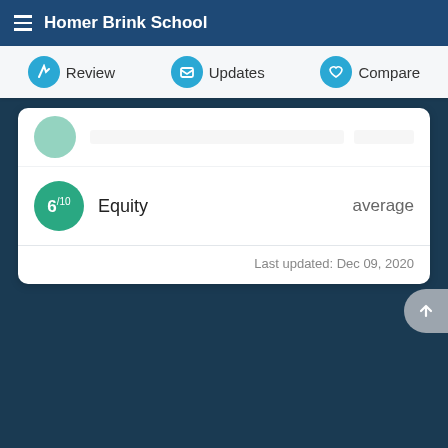Homer Brink School
Review | Updates | Compare
6/10  Equity  average
Last updated: Dec 09, 2020